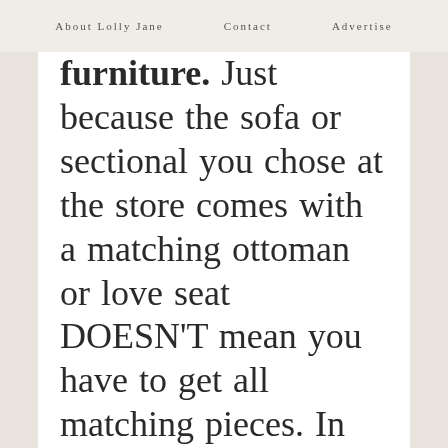About Lolly Jane   Contact   Advertise
furniture. Just because the sofa or sectional you chose at the store comes with a matching ottoman or love seat DOESN'T mean you have to get all matching pieces. In fact, we would say in our best Jimmy Fallon voice, "Ewww!" LOL! Be playful and let each piece bring